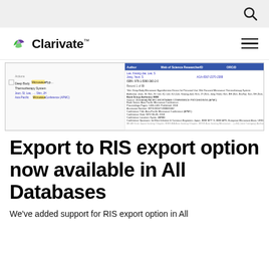Search icon / navigation bar
[Figure (screenshot): Screenshot of a Web of Science search results page showing a record for 'Deep Body Microwave Hyperthermia Device for Personal Use: Wet Focused Microwave Thermotherapy System', with bibliographic details including authors, source, conference title, dates, and location.]
Export to RIS export option now available in All Databases
We've added support for RIS export option in All